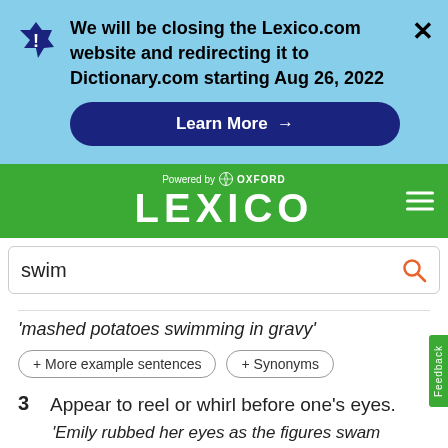We will be closing the Lexico.com website and redirecting it to Dictionary.com starting Aug 26, 2022
Learn More →
[Figure (logo): Lexico powered by Oxford logo on green background with hamburger menu]
swim
'mashed potatoes swimming in gravy'
+ More example sentences
+ Synonyms
3  Appear to reel or whirl before one's eyes.
'Emily rubbed her eyes as the figures swam before her